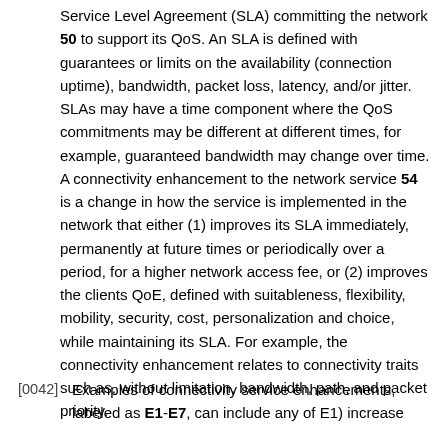Service Level Agreement (SLA) committing the network 50 to support its QoS. An SLA is defined with guarantees or limits on the availability (connection uptime), bandwidth, packet loss, latency, and/or jitter. SLAs may have a time component where the QoS commitments may be different at different times, for example, guaranteed bandwidth may change over time. A connectivity enhancement to the network service 54 is a change in how the service is implemented in the network that either (1) improves its SLA immediately, permanently at future times or periodically over a period, for a higher network access fee, or (2) improves the clients QoE, defined with suitableness, flexibility, mobility, security, cost, personalization and choice, while maintaining its SLA. For example, the connectivity enhancement relates to connectivity traits such as, without limitation, bandwidth, path, and packet priority.
[0042] Examples of connectivity service enhancements, labeled as E1-E7, can include any of E1) increase